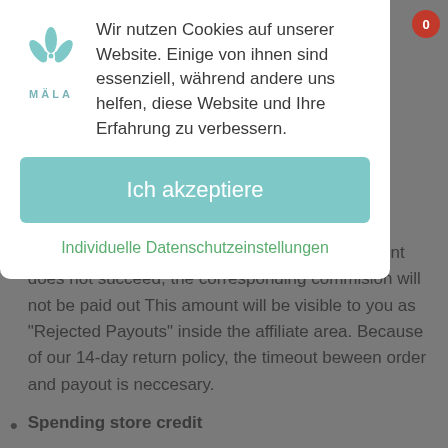[Figure (screenshot): Cookie consent modal dialog from MÄLA website with logo, German cookie notice text, accept button, and privacy settings link, overlaying a page with two list items about commission payouts and spending store credit.]
Wir nutzen Cookies auf unserer Website. Einige von ihnen sind essenziell, während andere uns helfen, diese Website und Ihre Erfahrung zu verbessern.
Ich akzeptiere
Individuelle Datenschutzeinstellungen
If an order is cancelled or returned or the payment does not succeed, the corresponding commision will not be paid out This amount will be visible to you as "Rejected Payouts" inside the affiliate area. Because of our 14-day return policy, the timeout beween order and payout is neccesary.
Spending store credit
To spend your store credit, you need to be logged into the affiliate area. You can then go to